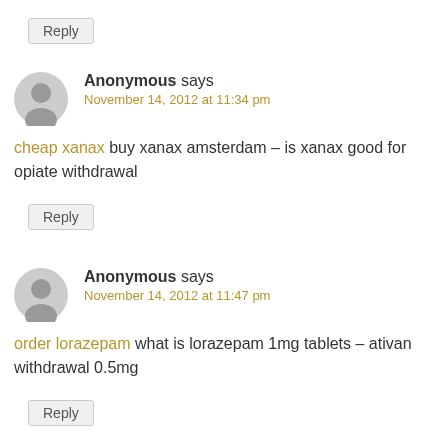Reply
Anonymous says
November 14, 2012 at 11:34 pm
cheap xanax buy xanax amsterdam – is xanax good for opiate withdrawal
Reply
Anonymous says
November 14, 2012 at 11:47 pm
order lorazepam what is lorazepam 1mg tablets – ativan withdrawal 0.5mg